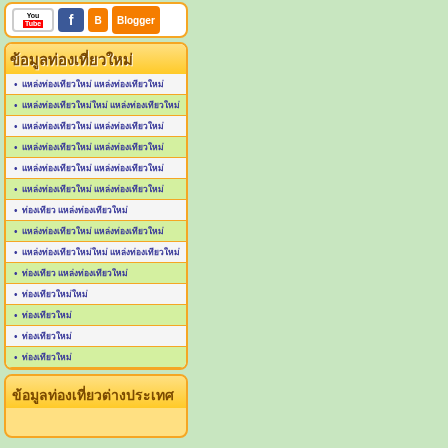[Figure (logo): Social media buttons: YouTube, Facebook, Blogger]
ข้อมูลท่องเที่ยวใหม่
ที่พักราคาถูก แหล่งท่องเที่ยวใหม่
ที่พักราคาประหยัด แหล่งท่องเที่ยวใหม่
ที่พักราคาถูก แหล่งท่องเที่ยวใหม่
ที่พักราคาถูก แหล่งท่องเที่ยวใหม่
ที่พักราคาถูก แหล่งท่องเที่ยวใหม่
ที่พักราคาถูก แหล่งท่องเที่ยวใหม่
ที่พักราคา แหล่งท่องเที่ยวใหม่
ที่พักราคาถูก แหล่งท่องเที่ยวใหม่
ที่พักราคาประหยัด แหล่งท่องเที่ยวใหม่
ที่พักราคาถูก แหล่งท่องเที่ยวใหม่
ที่พักราคาประหยัด
ที่พักราคา
ที่พักราคา
ที่พักราคา
ข้อมูลท่องเที่ยวต่างประเทศ